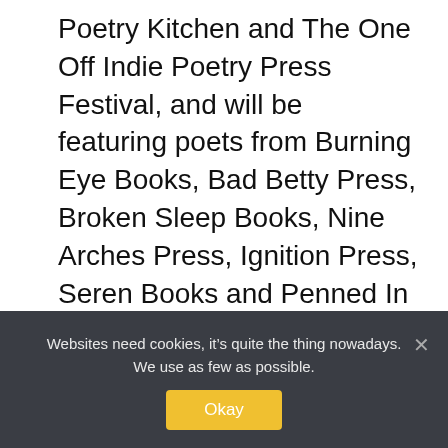Poetry Kitchen and The One Off Indie Poetry Press Festival, and will be featuring poets from Burning Eye Books, Bad Betty Press, Broken Sleep Books, Nine Arches Press, Ignition Press, Seren Books and Penned In The Margins as well as Faber, Bloodaxe, Chatto, Picador and Jonathan Cape. And our competition event this year is hosted by this year's judge Caroline Bird!
TFP: How did Verve Poetry Press develop out of the festival?
Websites need cookies, it's quite the thing nowadays. We use as few as possible.
Okay